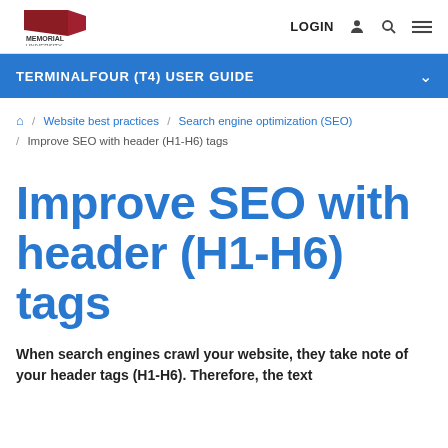Memorial University | LOGIN
TERMINALFOUR (T4) USER GUIDE
Home / Website best practices / Search engine optimization (SEO) / Improve SEO with header (H1-H6) tags
Improve SEO with header (H1-H6) tags
When search engines crawl your website, they take note of your header tags (H1-H6). Therefore, the text